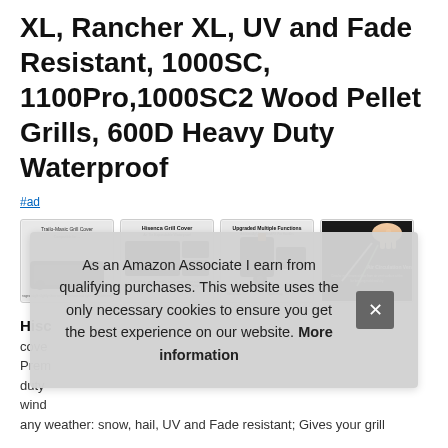XL, Rancher XL, UV and Fade Resistant, 1000SC, 1100Pro,1000SC2 Wood Pellet Grills, 600D Heavy Duty Waterproof
#ad
[Figure (photo): Four product thumbnail images of grill covers showing different views: product listing image, material detail, features diagram, and close-up of air circulation vent]
Hisco... cover... Premium... duty... wind... any weather: snow, hail, UV and Fade resistant; Gives your grill
As an Amazon Associate I earn from qualifying purchases. This website uses the only necessary cookies to ensure you get the best experience on our website. More information